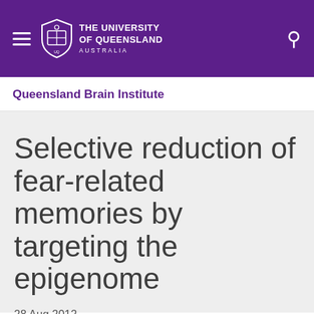The University of Queensland Australia
Queensland Brain Institute
Selective reduction of fear-related memories by targeting the epigenome
28 Aug 2012